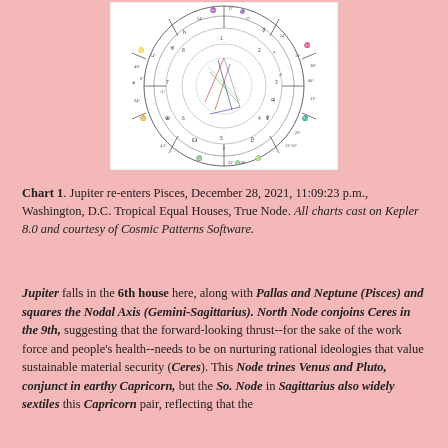[Figure (schematic): Astrological natal chart wheel showing planetary positions, aspects, and zodiac signs. Chart is circular with multiple concentric rings, planetary symbols, degree markings, and aspect lines in the center.]
Chart 1. Jupiter re-enters Pisces, December 28, 2021, 11:09:23 p.m., Washington, D.C. Tropical Equal Houses, True Node. All charts cast on Kepler 8.0 and courtesy of Cosmic Patterns Software.
Jupiter falls in the 6th house here, along with Pallas and Neptune (Pisces) and squares the Nodal Axis (Gemini-Sagittarius). North Node conjoins Ceres in the 9th, suggesting that the forward-looking thrust--for the sake of the work force and people's health--needs to be on nurturing rational ideologies that value sustainable material security (Ceres). This Node trines Venus and Pluto, conjunct in earthy Capricorn, but the So. Node in Sagittarius also widely sextiles this Capricorn pair, reflecting that the